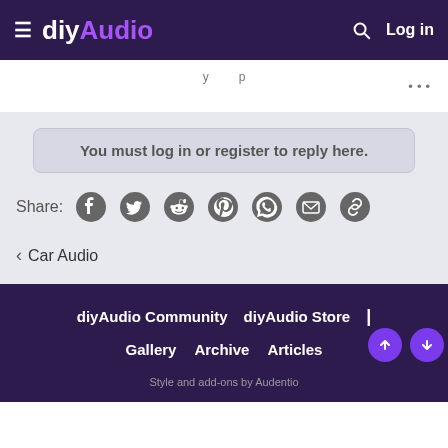diyAudio — Log in
You must log in or register to reply here.
Share:
< Car Audio
diyAudio Community | diyAudio Store | Gallery | Archive | Articles